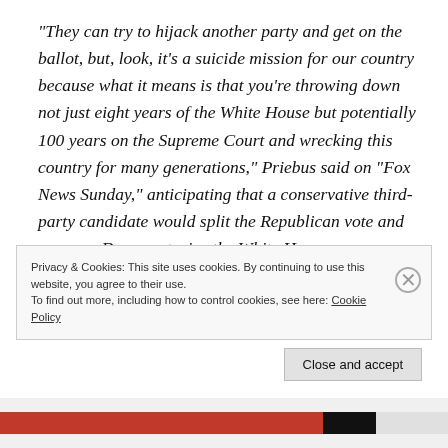“They can try to hijack another party and get on the ballot, but, look, it’s a suicide mission for our country because what it means is that you’re throwing down not just eight years of the White House but potentially 100 years on the Supreme Court and wrecking this country for many generations,” Priebus said on “Fox News Sunday,” anticipating that a conservative third-party candidate would split the Republican vote and ensure a Democrat wins the White House.
Privacy & Cookies: This site uses cookies. By continuing to use this website, you agree to their use.
To find out more, including how to control cookies, see here: Cookie Policy
Close and accept